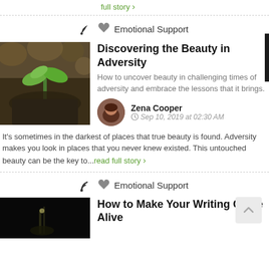full story›
Emotional Support
Discovering the Beauty in Adversity
How to uncover beauty in challenging times of adversity and embrace the lessons that it brings.
Zena Cooper
Sep 10, 2019 at 02:30 AM
It's sometimes in the darkest of places that true beauty is found. Adversity makes you look in places that you never knew existed. This untouched beauty can be the key to...read full story›
Emotional Support
How to Make Your Writing Come Alive